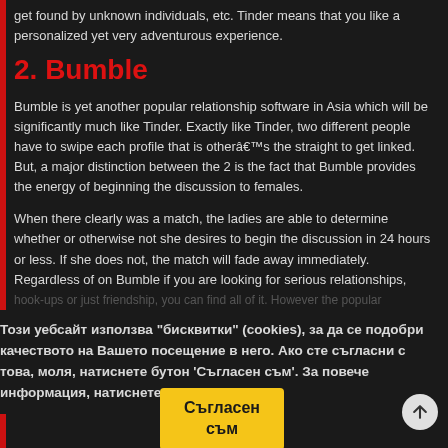get found by unknown individuals, etc. Tinder means that you like a personalized yet very adventurous experience.
2. Bumble
Bumble is yet another popular relationship software in Asia which will be significantly much like Tinder. Exactly like Tinder, two different people have to swipe each profile that is otherâ€™s the straight to get linked. But, a major distinction between the 2 is the fact that Bumble provides the energy of beginning the discussion to females.
When there clearly was a match, the ladies are able to determine whether or otherwise not she desires to begin the discussion in 24 hours or less. If she does not, the match will fade away immediately. Regardless of on Bumble if you are looking for serious relationships, hook-ups or just friendship, you can find all of it. However the popular
Този уебсайт използва "бисквитки" (cookies), за да се подобри качеството на Вашето посещение в него. Ако сте съгласни с това, моля, натиснете бутон 'Съгласен съм'. За повече информация, натиснете тук.
In the event that youâ€™ve within the past, you already know just essential process an